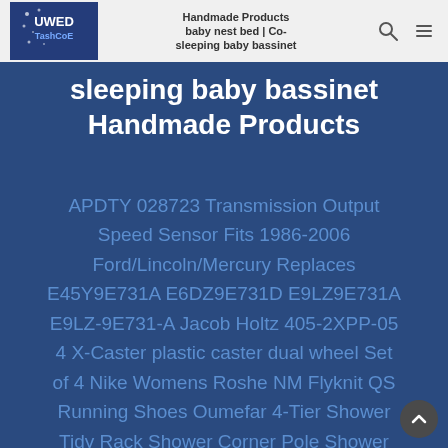Handmade Products | baby nest bed | Co-sleeping baby bassinet Handmade Products
sleeping baby bassinet
Handmade Products
APDTY 028723 Transmission Output Speed Sensor Fits 1986-2006 Ford/Lincoln/Mercury Replaces E45Y9E731A E6DZ9E731D E9LZ9E731A E9LZ-9E731-A Jacob Holtz 405-2XPP-05 4 X-Caster plastic caster dual wheel Set of 4 Nike Womens Roshe NM Flyknit QS Running Shoes Oumefar 4-Tier Shower Tidy Rack Shower Corner Pole Shower